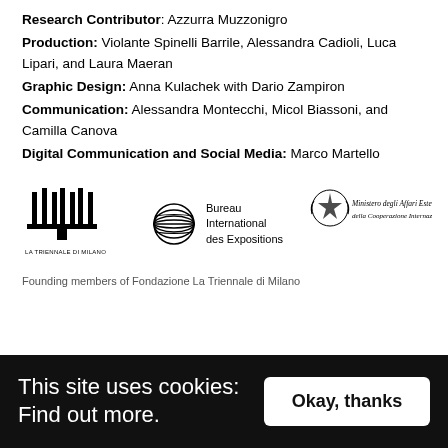Research Contributor: Azzurra Muzzonigro
Production: Violante Spinelli Barrile, Alessandra Cadioli, Luca Lipari, and Laura Maeran
Graphic Design: Anna Kulachek with Dario Zampiron
Communication: Alessandra Montecchi, Micol Biassoni, and Camilla Canova
Digital Communication and Social Media: Marco Martello
[Figure (logo): Three logos: La Triennale di Milano logo (building icon with text), Bureau International des Expositions logo (globe with horizontal lines), and Ministero degli Affari Esteri della Cooperazione Internazionale logo (Italian republic emblem with script text)]
Founding members of Fondazione La Triennale di Milano
This site uses cookies: Find out more.
Okay, thanks